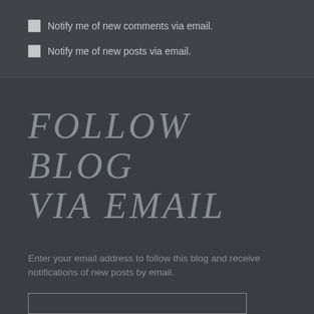Notify me of new comments via email.
Notify me of new posts via email.
FOLLOW BLOG VIA EMAIL
Enter your email address to follow this blog and receive notifications of new posts by email.